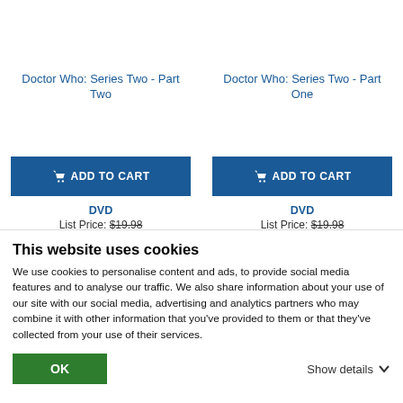Doctor Who: Series Two - Part Two
Doctor Who: Series Two - Part One
ADD TO CART
ADD TO CART
DVD
List Price: $19.98
DVD
List Price: $19.98
This website uses cookies
We use cookies to personalise content and ads, to provide social media features and to analyse our traffic. We also share information about your use of our site with our social media, advertising and analytics partners who may combine it with other information that you've provided to them or that they've collected from your use of their services.
OK
Show details